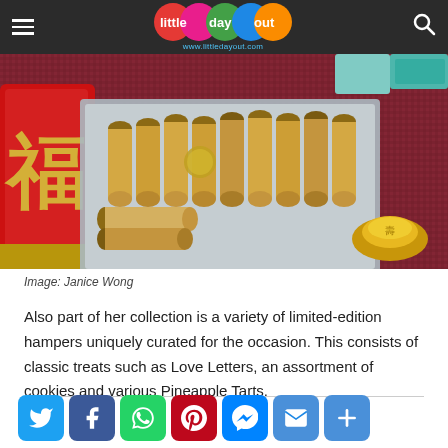little day out — www.littledayout.com
[Figure (photo): A tin box filled with Love Letters (rolled wafer cookies), placed on a red woven mat, with a red cylindrical tin decorated with gold Chinese characters on the left and a gold ingot ornament on the right.]
Image: Janice Wong
Also part of her collection is a variety of limited-edition hampers uniquely curated for the occasion. This consists of classic treats such as Love Letters, an assortment of cookies and various Pineapple Tarts.